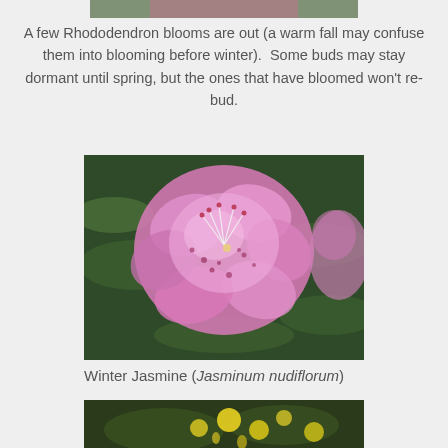[Figure (photo): Top cropped photo of rhododendron blooms, partially visible at top of page]
A few Rhododendron blooms are out (a warm fall may confuse them into blooming before winter).  Some buds may stay dormant until spring, but the ones that have bloomed won't re-bud.
[Figure (photo): Close-up photo of pink Rhododendron flowers with stamens visible against dark green leaves]
Winter Jasmine (Jasminum nudiflorum)
[Figure (photo): Partial photo of Winter Jasmine (Jasminum nudiflorum) with yellow flowers, cropped at bottom of page]